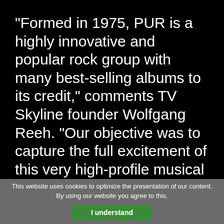"Formed in 1975, PUR is a highly innovative and popular rock group with many best-selling albums to its credit," comments TV Skyline founder Wolfgang Reeh. "Our objective was to capture the full excitement of this very high-profile musical event for viewers watching at home. We naturally needed images that would reflect the dynamism of
This website uses cookies to optimize the presentation of our content. By using our website you agree to this.
I understand